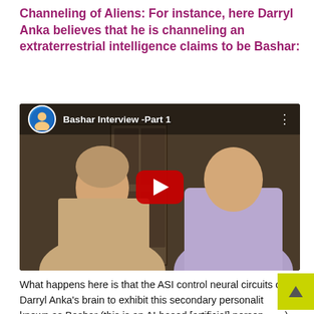Channeling of Aliens: For instance, here Darryl Anka believes that he is channeling an extraterrestrial intelligence claims to be Bashar:
[Figure (screenshot): YouTube video thumbnail showing two men in conversation, titled 'Bashar Interview -Part 1'. One man in a beige jacket gestures with his hands while talking to another man in a light purple t-shirt. A red YouTube play button is visible in the center. The video appears to be hosted on a YouTube channel.]
What happens here is that the ASI control neural circuits of Darryl Anka's brain to exhibit this secondary personality known as Bashar (this is an AI-based [artificial] personality).